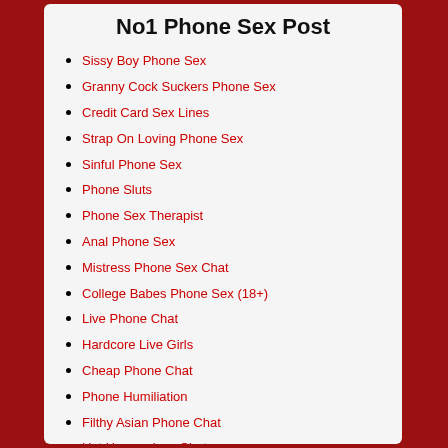No1 Phone Sex Post
Sissy Boy Phone Sex
Granny Cock Suckers Phone Sex
Credit Card Sex Lines
Strap On Loving Phone Sex
Sinful Phone Sex
Phone Sluts
Phone Sex Therapist
Anal Phone Sex
Mistress Phone Sex Chat
College Babes Phone Sex (18+)
Live Phone Chat
Hardcore Live Girls
Cheap Phone Chat
Phone Humiliation
Filthy Asian Phone Chat
Hot Housewives Chat